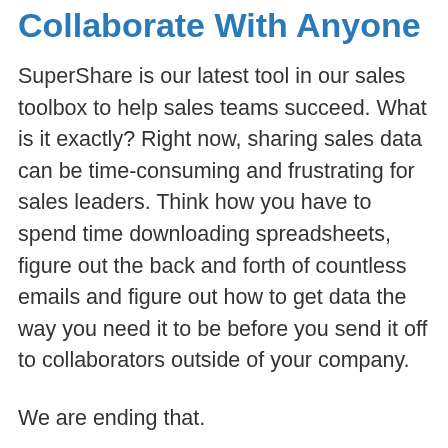Collaborate With Anyone
SuperShare is our latest tool in our sales toolbox to help sales teams succeed. What is it exactly? Right now, sharing sales data can be time-consuming and frustrating for sales leaders. Think how you have to spend time downloading spreadsheets, figure out the back and forth of countless emails and figure out how to get data the way you need it to be before you send it off to collaborators outside of your company.
We are ending that.